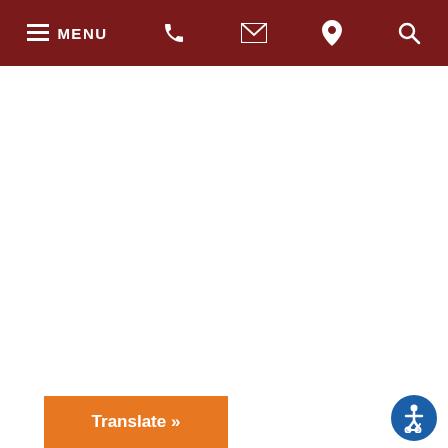MENU [phone] [email] [location] [search]
[Figure (screenshot): White empty content area of a government website]
Translate »
[Figure (illustration): Accessibility icon - wheelchair symbol in blue circle]